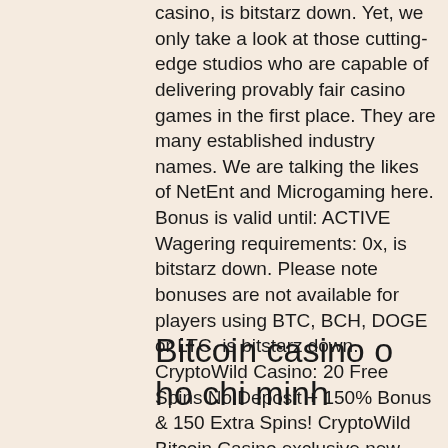casino, is bitstarz down. Yet, we only take a look at those cutting-edge studios who are capable of delivering provably fair casino games in the first place. They are many established industry names. We are talking the likes of NetEnt and Microgaming here. Bonus is valid until: ACTIVE Wagering requirements: 0x, is bitstarz down. Please note bonuses are not available for players using BTC, BCH, DOGE or LTC, is bitstarz down. CryptoWild Casino: 20 Free Spins No Deposit + 150% Bonus & 150 Extra Spins! CryptoWild Bitcoin Casino exclusive new player bonus ' 20 Free Spins No Deposit AND 150 bonus spins offer plus a massive 150% match bonus with your first deposit!
Bitcoin casino o ho chi minh